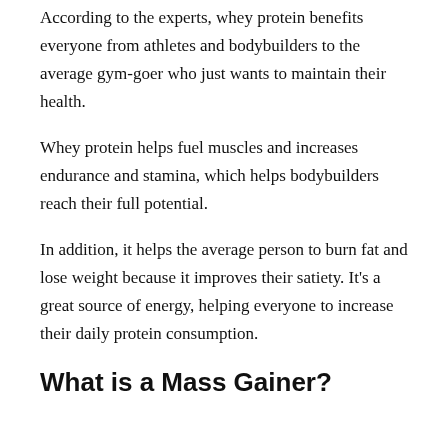According to the experts, whey protein benefits everyone from athletes and bodybuilders to the average gym-goer who just wants to maintain their health.
Whey protein helps fuel muscles and increases endurance and stamina, which helps bodybuilders reach their full potential.
In addition, it helps the average person to burn fat and lose weight because it improves their satiety. It's a great source of energy, helping everyone to increase their daily protein consumption.
What is a Mass Gainer?